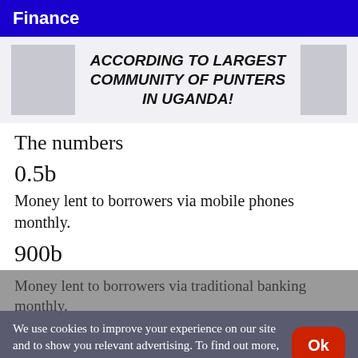Finance
[Figure (other): Advertisement banner with bold italic text reading 'ACCORDING TO LARGEST COMMUNITY OF PUNTERS IN UGANDA!' on a light gray background with a gray placeholder image on the left.]
The numbers
0.5b
Money lent to borrowers via mobile phones monthly.
900b
Money lent to borrowers via traditional banking monthly.
We use cookies to improve your experience on our site and to show you relevant advertising. To find out more, read our updated Privacy policy